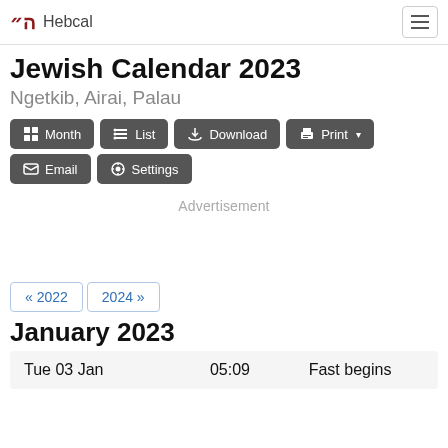Hebcal
Jewish Calendar 2023
Ngetkib, Airai, Palau
Month  List  Download  Print  Email  Settings
Advertisement
« 2022   2024 »
January 2023
| Date | Time | Event |
| --- | --- | --- |
| Tue 03 Jan | 05:09 | Fast begins |